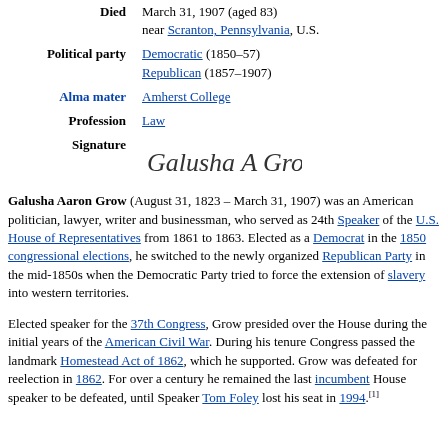| Died | March 31, 1907 (aged 83)
near Scranton, Pennsylvania, U.S. |
| Political party | Democratic (1850–57)
Republican (1857–1907) |
| Alma mater | Amherst College |
| Profession | Law |
| Signature | [signature image] |
Galusha Aaron Grow (August 31, 1823 – March 31, 1907) was an American politician, lawyer, writer and businessman, who served as 24th Speaker of the U.S. House of Representatives from 1861 to 1863. Elected as a Democrat in the 1850 congressional elections, he switched to the newly organized Republican Party in the mid-1850s when the Democratic Party tried to force the extension of slavery into western territories.
Elected speaker for the 37th Congress, Grow presided over the House during the initial years of the American Civil War. During his tenure Congress passed the landmark Homestead Act of 1862, which he supported. Grow was defeated for reelection in 1862. For over a century he remained the last incumbent House speaker to be defeated, until Speaker Tom Foley lost his seat in 1994.[1]